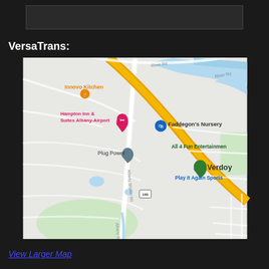VersaTrans:
[Figure (map): Google Maps view showing Albany Shaker Road area with landmarks including Innovo Kitchen, Hampton Inn & Suites Albany-Airport, Faddegon's Nursery, Plug Power, All 4 Fun Entertainment, and Verdoy / Play It Again Sports. Roads shown include River Rd, Albany Shaker Rd, and route 160.]
View Larger Map